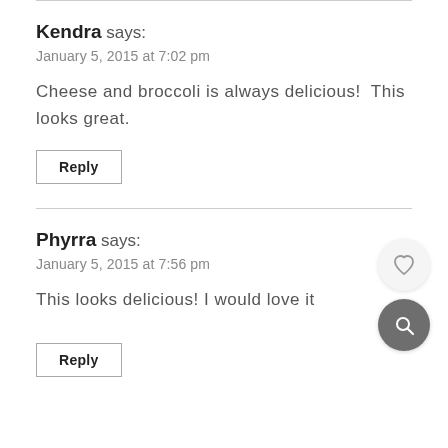Kendra says:
January 5, 2015 at 7:02 pm
Cheese and broccoli is always delicious! This looks great.
Reply
Phyrra says:
January 5, 2015 at 7:56 pm
This looks delicious! I would love it
Reply